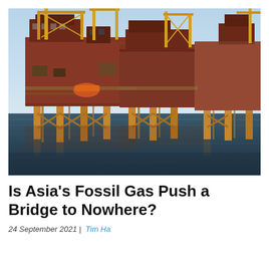[Figure (photo): Offshore oil and gas platform photographed from water level. The platform has red/brown structural elements, yellow cranes and scaffolding, pipes and industrial equipment visible. Platform legs extend into dark water. Blue sky in background.]
Is Asia's Fossil Gas Push a Bridge to Nowhere?
24 September 2021 | Tim Ha